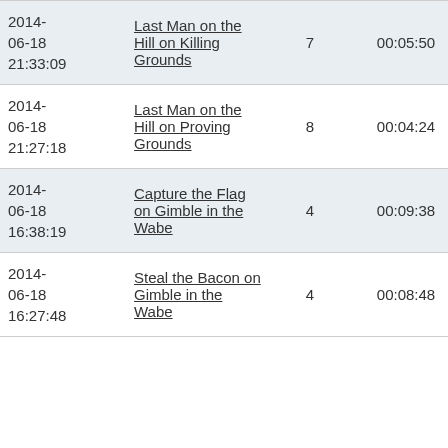| Date | Title | # | Duration | Action |
| --- | --- | --- | --- | --- |
| 2014-06-18 21:33:09 | Last Man on the Hill on Killing Grounds | 7 | 00:05:50 | Recording |
| 2014-06-18 21:27:18 | Last Man on the Hill on Proving Grounds | 8 | 00:04:24 | Recording |
| 2014-06-18 16:38:19 | Capture the Flag on Gimble in the Wabe | 4 | 00:09:38 | Recording |
| 2014-06-18 16:27:48 | Steal the Bacon on Gimble in the Wabe | 4 | 00:08:48 | Recording |